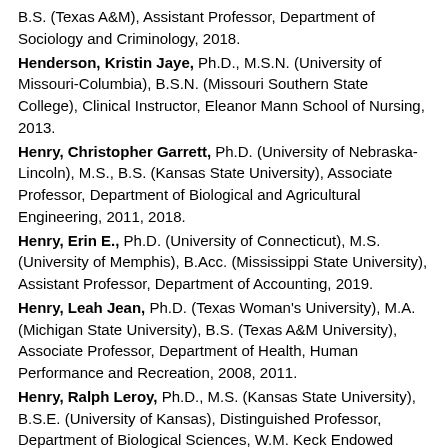B.S. (Texas A&M), Assistant Professor, Department of Sociology and Criminology, 2018.
Henderson, Kristin Jaye, Ph.D., M.S.N. (University of Missouri-Columbia), B.S.N. (Missouri Southern State College), Clinical Instructor, Eleanor Mann School of Nursing, 2013.
Henry, Christopher Garrett, Ph.D. (University of Nebraska-Lincoln), M.S., B.S. (Kansas State University), Associate Professor, Department of Biological and Agricultural Engineering, 2011, 2018.
Henry, Erin E., Ph.D. (University of Connecticut), M.S. (University of Memphis), B.Acc. (Mississippi State University), Assistant Professor, Department of Accounting, 2019.
Henry, Leah Jean, Ph.D. (Texas Woman's University), M.A. (Michigan State University), B.S. (Texas A&M University), Associate Professor, Department of Health, Human Performance and Recreation, 2008, 2011.
Henry, Ralph Leroy, Ph.D., M.S. (Kansas State University), B.S.E. (University of Kansas), Distinguished Professor, Department of Biological Sciences, W.M. Keck Endowed